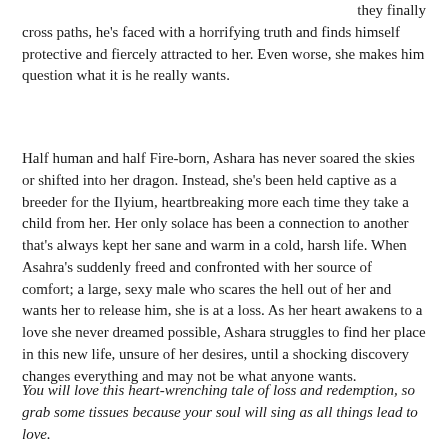they finally cross paths, he's faced with a horrifying truth and finds himself protective and fiercely attracted to her. Even worse, she makes him question what it is he really wants.
Half human and half Fire-born, Ashara has never soared the skies or shifted into her dragon. Instead, she's been held captive as a breeder for the Ilyium, heartbreaking more each time they take a child from her. Her only solace has been a connection to another that's always kept her sane and warm in a cold, harsh life. When Asahra's suddenly freed and confronted with her source of comfort; a large, sexy male who scares the hell out of her and wants her to release him, she is at a loss. As her heart awakens to a love she never dreamed possible, Ashara struggles to find her place in this new life, unsure of her desires, until a shocking discovery changes everything and may not be what anyone wants.
You will love this heart-wrenching tale of loss and redemption, so grab some tissues because your soul will sing as all things lead to love.